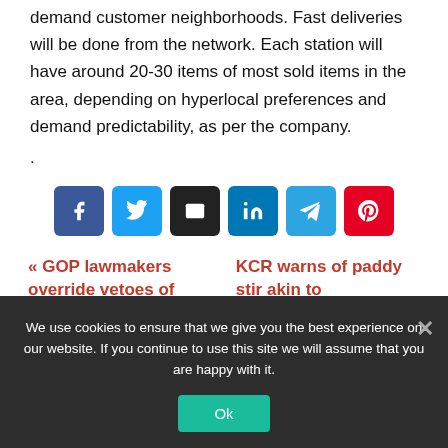demand customer neighborhoods. Fast deliveries will be done from the network. Each station will have around 20-30 items of most sold items in the area, depending on hyperlocal preferences and demand predictability, as per the company.
.
[Figure (other): Social share buttons: Facebook, Twitter, Email, LinkedIn, Telegram, Pinterest]
« GOP lawmakers override vetoes of   KCR warns of paddy stir akin to
We use cookies to ensure that we give you the best experience on our website. If you continue to use this site we will assume that you are happy with it.
Ok